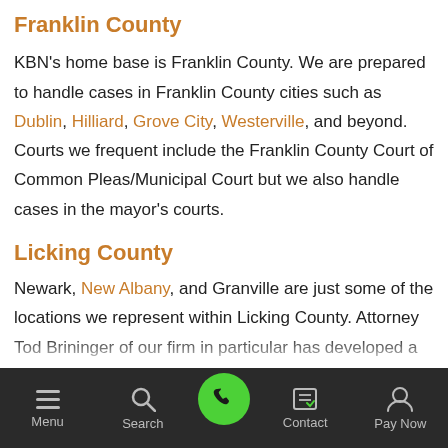Franklin County
KBN's home base is Franklin County. We are prepared to handle cases in Franklin County cities such as Dublin, Hilliard, Grove City, Westerville, and beyond. Courts we frequent include the Franklin County Court of Common Pleas/Municipal Court but we also handle cases in the mayor's courts.
Licking County
Newark, New Albany, and Granville are just some of the locations we represent within Licking County. Attorney Tod Brininger of our firm in particular has developed a strong
Menu  Search  [Call]  Contact  Pay Now